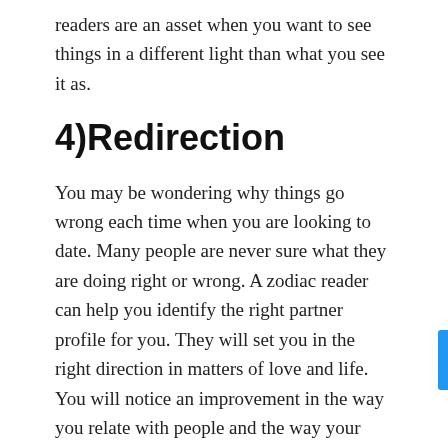readers are an asset when you want to see things in a different light than what you see it as.
4)Redirection
You may be wondering why things go wrong each time when you are looking to date. Many people are never sure what they are doing right or wrong. A zodiac reader can help you identify the right partner profile for you. They will set you in the right direction in matters of love and life. You will notice an improvement in the way you relate with people and the way your life plays out.
Astro psychic readers can be hard to come by. There have been many stories about fake psychics. However, there are gifted astrology psychics that one can use to their advantage. You can find them near you. You can